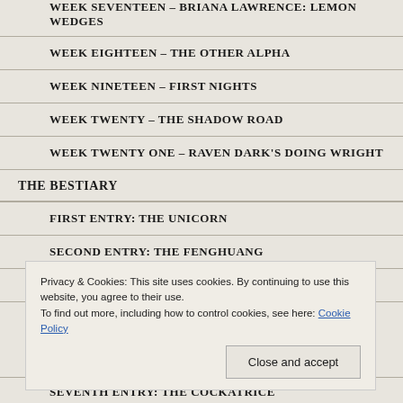WEEK SEVENTEEN – BRIANA LAWRENCE: LEMON WEDGES
WEEK EIGHTEEN – THE OTHER ALPHA
WEEK NINETEEN – FIRST NIGHTS
WEEK TWENTY – THE SHADOW ROAD
WEEK TWENTY ONE – RAVEN DARK'S DOING WRIGHT
THE BESTIARY
FIRST ENTRY: THE UNICORN
SECOND ENTRY: THE FENGHUANG
THIRD ENTRY: THE YUKI-ONNA
Privacy & Cookies: This site uses cookies. By continuing to use this website, you agree to their use.
To find out more, including how to control cookies, see here: Cookie Policy
SEVENTH ENTRY: THE COCKATRICE